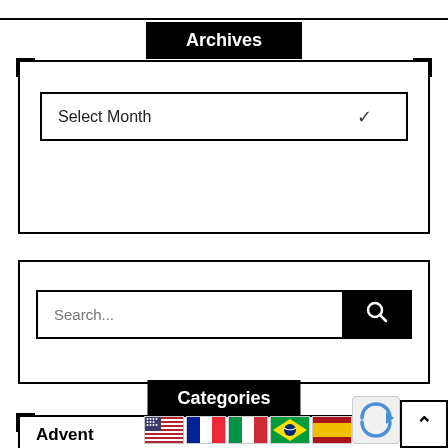Archives
Select Month
Categories
Advent
Books & Music